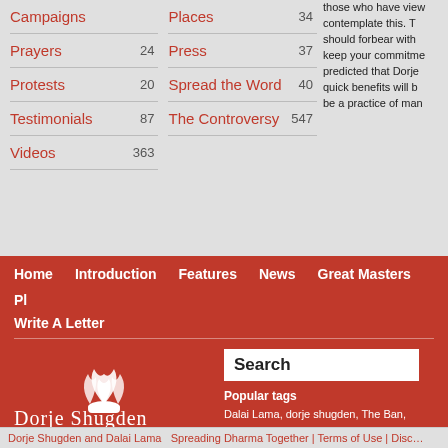Campaigns
Prayers 24
Protests 20
Testimonials 87
Videos 363
Places 34
Press 37
Spread the Word 40
The Controversy 547
those who have view contemplate this. T should forbear with keep your commitme predicted that Dorje quick benefits will b be a practice of man
Home  Introduction  Features  News  Great Masters  Pl...  Write A Letter
[Figure (logo): Dorje Shugden logo with flame icon and text 'Dorje Shugden']
Search
Popular tags
Dalai Lama, dorje shugden, The Ban, testimonials, tibet, prayers, lama tso gelug, pabongka rinpoche, monastery monastery, letters, geshe kelsang gy
Dorje Shugden and Dalai Lama   Spreading Dharma Together | Terms of Use | Disc...